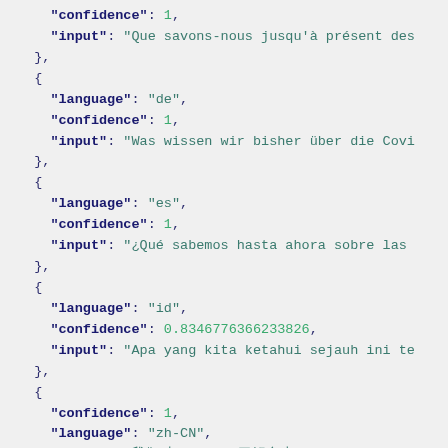JSON code block showing language detection records with fields: confidence, input, language for multiple language entries (fr, de, es, id, zh-CN)